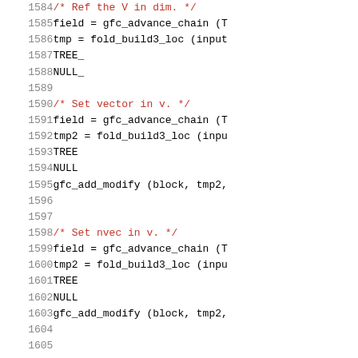Source code listing lines 1584-1605 showing C code for setting vector fields
[Figure (screenshot): Source code viewer showing C source lines 1584-1605 with line numbers on left, code on right. Comments in red, code in black monospace font.]